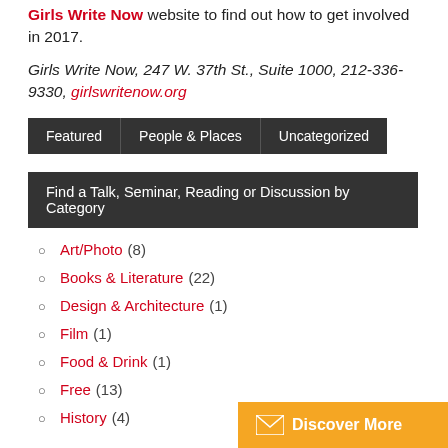Girls Write Now website to find out how to get involved in 2017.
Girls Write Now, 247 W. 37th St., Suite 1000, 212-336-9330, girlswritenow.org
| Featured | People & Places | Uncategorized |
| --- | --- | --- |
Find a Talk, Seminar, Reading or Discussion by Category
Art/Photo (8)
Books & Literature (22)
Design & Architecture (1)
Film (1)
Food & Drink (1)
Free (13)
History (4)